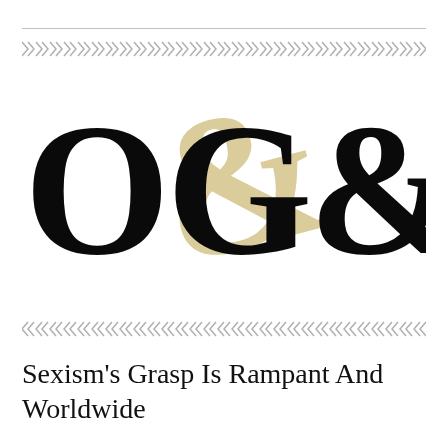[Figure (logo): OG&B logo in blackletter/gothic style with large letters O, G, ampersand, B. The ampersand is rendered in a tan/gold color behind the black letters.]
Sexism's Grasp Is Rampant And Worldwide